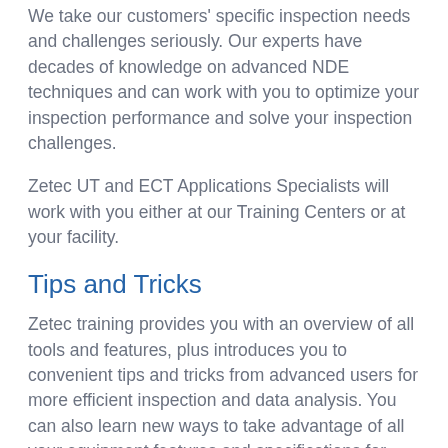We take our customers' specific inspection needs and challenges seriously. Our experts have decades of knowledge on advanced NDE techniques and can work with you to optimize your inspection performance and solve your inspection challenges.
Zetec UT and ECT Applications Specialists will work with you either at our Training Centers or at your facility.
Tips and Tricks
Zetec training provides you with an overview of all tools and features, plus introduces you to convenient tips and tricks from advanced users for more efficient inspection and data analysis. You can also learn new ways to take advantage of all your equipment features and specifications for optimizing your inspections.
Partnering with the Best
When you require certification training, we can work with academies and schools worldwide. Our partners include